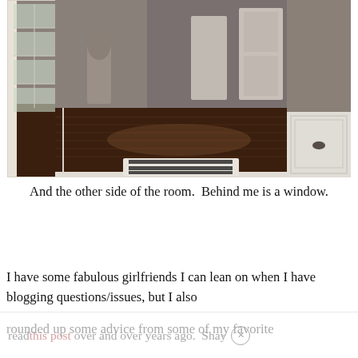[Figure (photo): Interior hallway photo showing dark hardwood floors, white French doors on the left, white paneled walls on the right, corridor leading to open doors in the background, with a decorative statue visible and a striped rug/bag on the floor in foreground.]
And the other side of the room.  Behind me is a window.
I have some fabulous girlfriends I can lean on when I have blogging questions/issues, but I also
read this post over and over years ago.  Shay
rounded up some advice from some of my favorite